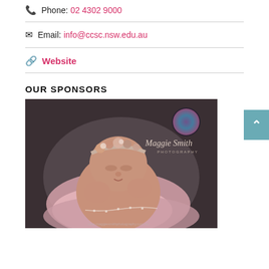Phone: 02 4302 9000
Email: info@ccsc.nsw.edu.au
Website
OUR SPONSORS
[Figure (photo): Newborn baby sleeping wrapped in pink fabric with a floral headband, with Maggie Smith Photography branding/logo visible in the upper right of the image.]